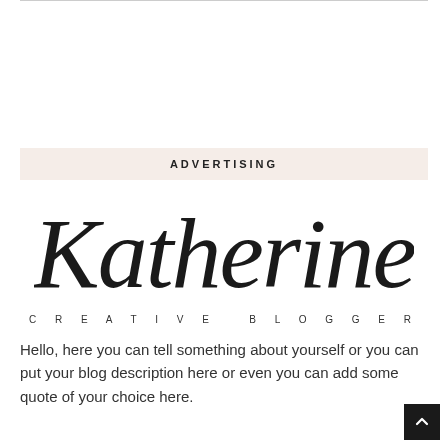ADVERTISING
[Figure (logo): Katherine Creative Blogger logo — cursive script 'Katherine' above spaced uppercase text 'CREATIVE BLOGGER']
Hello, here you can tell something about yourself or you can put your blog description here or even you can add some quote of your choice here.